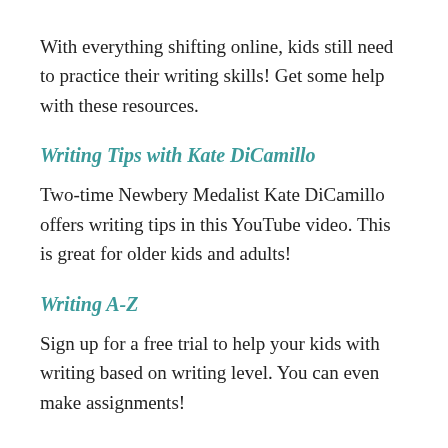With everything shifting online, kids still need to practice their writing skills! Get some help with these resources.
Writing Tips with Kate DiCamillo
Two-time Newbery Medalist Kate DiCamillo offers writing tips in this YouTube video. This is great for older kids and adults!
Writing A-Z
Sign up for a free trial to help your kids with writing based on writing level. You can even make assignments!